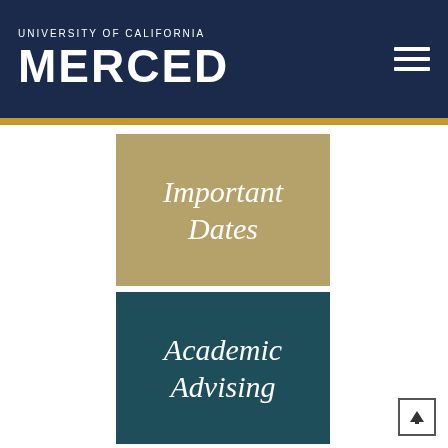[Figure (logo): University of California Merced logo — white text on dark navy header bar with gold stripe below]
Important Dates
Academic Advising
Archived Catalogs